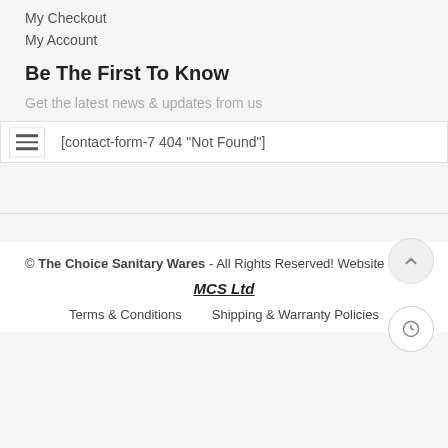My Checkout
My Account
Be The First To Know
Get the latest news & updates from us
[contact-form-7 404 "Not Found"]
© The Choice Sanitary Wares - All Rights Reserved! Website By MCS Ltd
Terms & Conditions    Shipping & Warranty Policies